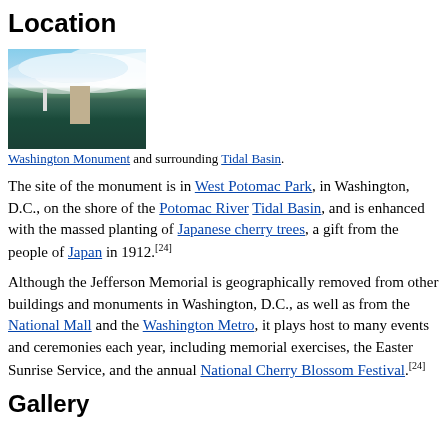Location
[Figure (photo): Photo of the Washington Monument and surrounding Tidal Basin, viewed from across the water with a blue sky and clouds above.]
Washington Monument and surrounding Tidal Basin.
The site of the monument is in West Potomac Park, in Washington, D.C., on the shore of the Potomac River Tidal Basin, and is enhanced with the massed planting of Japanese cherry trees, a gift from the people of Japan in 1912.[24]
Although the Jefferson Memorial is geographically removed from other buildings and monuments in Washington, D.C., as well as from the National Mall and the Washington Metro, it plays host to many events and ceremonies each year, including memorial exercises, the Easter Sunrise Service, and the annual National Cherry Blossom Festival.[24]
Gallery